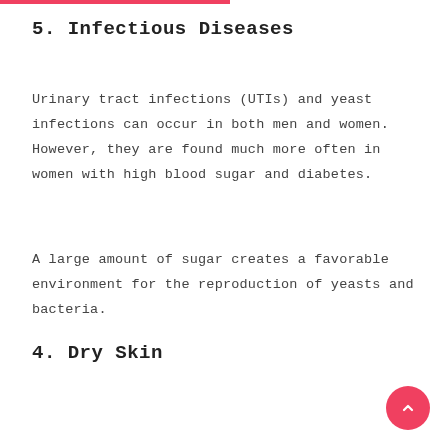5. Infectious Diseases
Urinary tract infections (UTIs) and yeast infections can occur in both men and women. However, they are found much more often in women with high blood sugar and diabetes.
A large amount of sugar creates a favorable environment for the reproduction of yeasts and bacteria.
4. Dry Skin